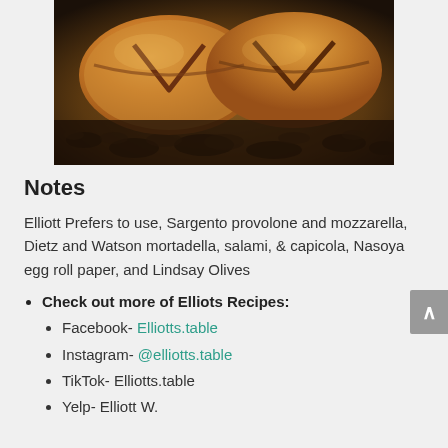[Figure (photo): Photo of fried egg roll wraps / pastries being deep-fried in oil, golden brown color with dark scoring marks, bubbling oil around them]
Notes
Elliott Prefers to use, Sargento provolone and mozzarella, Dietz and Watson mortadella, salami, & capicola, Nasoya egg roll paper, and Lindsay Olives
Check out more of Elliots Recipes:
Facebook- Elliotts.table
Instagram- @elliotts.table
TikTok- Elliotts.table
Yelp- Elliott W.